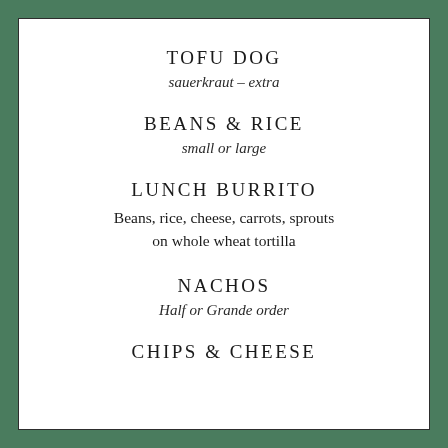TOFU DOG
sauerkraut – extra
BEANS & RICE
small or large
LUNCH BURRITO
Beans, rice, cheese, carrots, sprouts on whole wheat tortilla
NACHOS
Half or Grande order
CHIPS & CHEESE